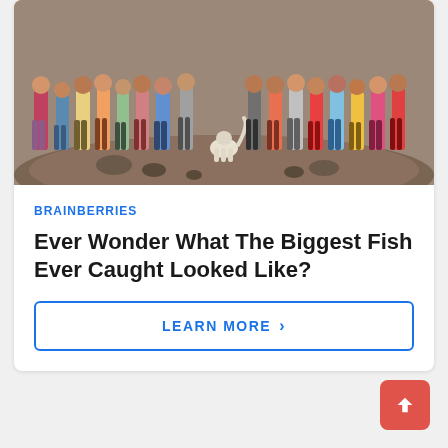[Figure (photo): Group of people standing on a rocky/dirt mound outdoors, with a white dog in the center. People are wearing casual summer clothes in various colors.]
BRAINBERRIES
Ever Wonder What The Biggest Fish Ever Caught Looked Like?
LEARN MORE >